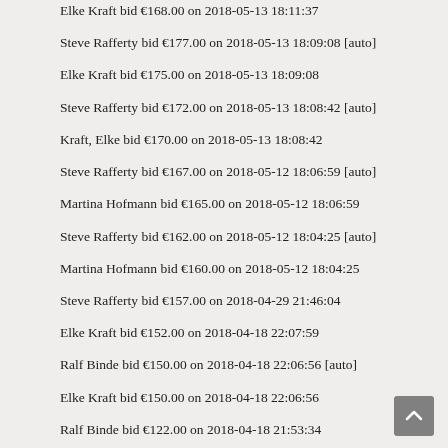Elke Kraft bid €168.00 on 2018-05-13 18:11:37
Steve Rafferty bid €177.00 on 2018-05-13 18:09:08 [auto]
Elke Kraft bid €175.00 on 2018-05-13 18:09:08
Steve Rafferty bid €172.00 on 2018-05-13 18:08:42 [auto]
Kraft, Elke bid €170.00 on 2018-05-13 18:08:42
Steve Rafferty bid €167.00 on 2018-05-12 18:06:59 [auto]
Martina Hofmann bid €165.00 on 2018-05-12 18:06:59
Steve Rafferty bid €162.00 on 2018-05-12 18:04:25 [auto]
Martina Hofmann bid €160.00 on 2018-05-12 18:04:25
Steve Rafferty bid €157.00 on 2018-04-29 21:46:04
Elke Kraft bid €152.00 on 2018-04-18 22:07:59
Ralf Binde bid €150.00 on 2018-04-18 22:06:56 [auto]
Elke Kraft bid €150.00 on 2018-04-18 22:06:56
Ralf Binde bid €122.00 on 2018-04-18 21:53:34
Elke Kraft bid €107.00 on 2018-04-17 17:46:13 [auto]